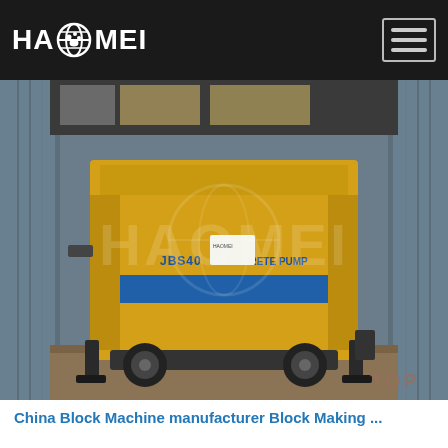[Figure (logo): HAOMEI logo with globe icon on dark navbar background, and hamburger menu icon on the right]
[Figure (photo): A yellow JBS40 concrete pump machine loaded inside a shipping container. The machine is yellow with a blue stripe and text reading 'JBS40 (model) CONCRETE PUMP'. The container interior is visible with metal walls and a wooden floor. A faint HAOMEI watermark is overlaid on the image. A 'TOP' badge appears in the lower right corner.]
China Block Machine manufacturer Block Making ...